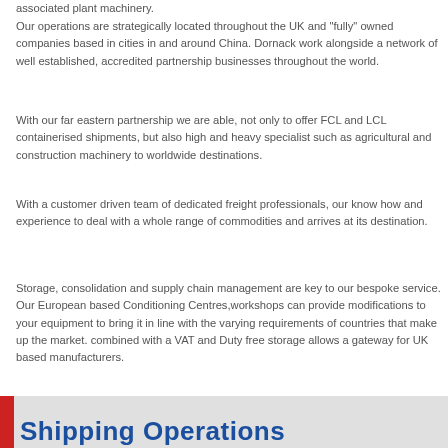associated plant machinery.
Our operations are strategically located throughout the UK and "fully" owned companies based in cities in and around China. Dornack work alongside a network of well established, accredited partnership businesses throughout the world.
With our far eastern partnership we are able, not only to offer FCL and LCL containerised shipments, but also high and heavy specialist such as agricultural and construction machinery to worldwide destinations.
With a customer driven team of dedicated freight professionals, our know how and experience to deal with a whole range of commodities and arrives at its destination.
Storage, consolidation and supply chain management are key to our bespoke service. Our European based Conditioning Centres, workshops can provide modifications to your equipment to bring it in line with the varying requirements of countries that make up the market. combined with a VAT and Duty free storage allows a gateway for UK based manufacturers.
Shipping Operations